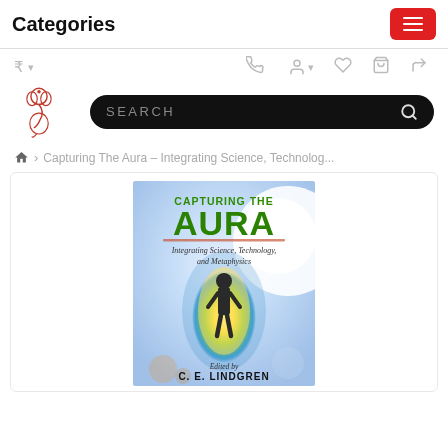Categories
[Figure (screenshot): E-commerce website screenshot showing Categories header, icon bar with rupee symbol, phone, user, heart, cart and share icons, Ganesha logo, search bar, breadcrumb navigation, and book cover for 'Capturing The Aura - Integrating Science, Technology, and Metaphysics' edited by C.E. Lindgren]
Capturing The Aura – Integrating Science, Technolog...